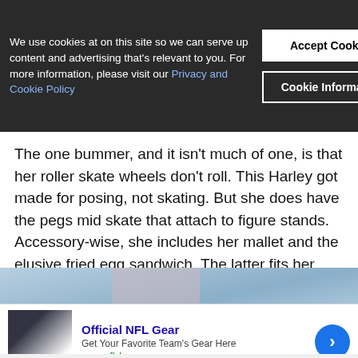We use cookies at on this site so we can serve up content and advertising that's relevant to you. For more information, please visit our Privacy and Cookie Policy
Accept Cookies
Cookie Information
The one bummer, and it isn't much of one, is that her roller skate wheels don't roll. This Harley got made for posing, not skating. But she does have the pegs mid skate that attach to figure stands. Accessory-wise, she includes her mallet and the elusive fried egg sandwich. The latter fits her hands best.
[Figure (photo): Partial view of a Harley Quinn action figure with blonde hair and roller skate accessories, against a colorful background.]
[Figure (infographic): NFL Shop advertisement showing team jerseys with text 'Official NFL Gear', 'Get Your Favorite Team's Gear Here', 'www.nflshop.com' and a blue circular arrow button.]